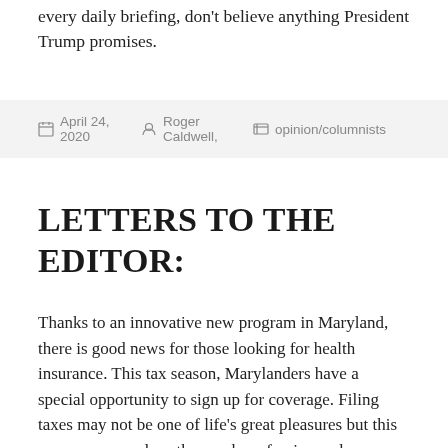every daily briefing, don't believe anything President Trump promises.
April 24, 2020   Roger Caldwell,   opinion/columnists
LETTERS TO THE EDITOR:
Thanks to an innovative new program in Maryland, there is good news for those looking for health insurance. This tax season, Marylanders have a special opportunity to sign up for coverage. Filing taxes may not be one of life's great pleasures but this year, we can reduce the number of uninsured individuals as they file...